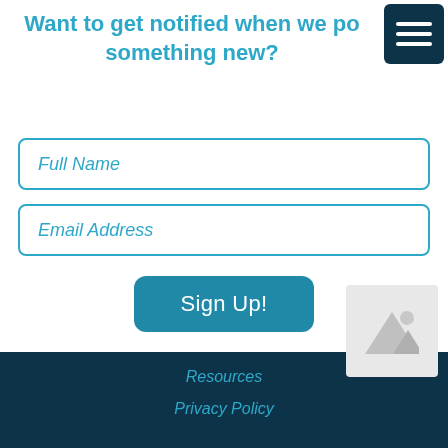Want to get notified when we post something new?
Full Name
Email Address
Sign Up!
[Figure (other): Broken image placeholder icon]
Resources
Privacy Policy